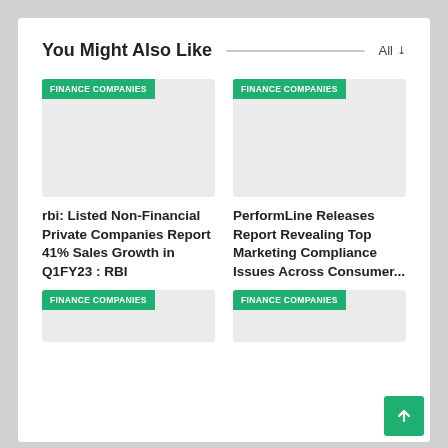You Might Also Like
[Figure (screenshot): Card image placeholder with FINANCE COMPANIES badge (top-left article)]
rbi: Listed Non-Financial Private Companies Report 41% Sales Growth in Q1FY23 : RBI
[Figure (screenshot): Card image placeholder with FINANCE COMPANIES badge (top-right article)]
PerformLine Releases Report Revealing Top Marketing Compliance Issues Across Consumer...
[Figure (screenshot): Card image placeholder with FINANCE COMPANIES badge (bottom-left article)]
[Figure (screenshot): Card image placeholder with FINANCE COMPANIES badge (bottom-right article)]